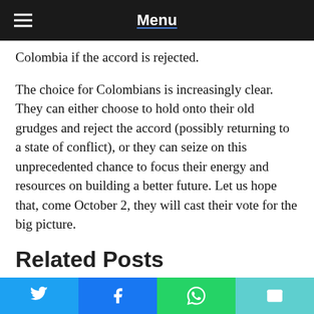Menu
Colombia if the accord is rejected.
The choice for Colombians is increasingly clear. They can either choose to hold onto their old grudges and reject the accord (possibly returning to a state of conflict), or they can seize on this unprecedented chance to focus their energy and resources on building a better future. Let us hope that, come October 2, they will cast their vote for the big picture.
Related Posts